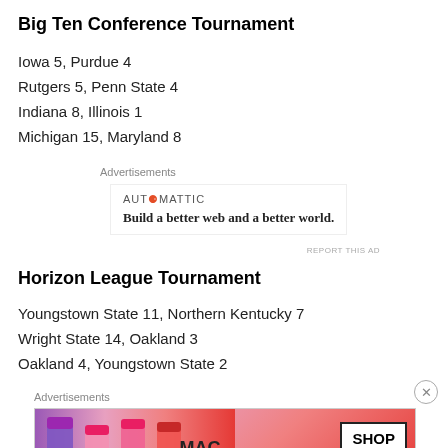Big Ten Conference Tournament
Iowa 5, Purdue 4
Rutgers 5, Penn State 4
Indiana 8, Illinois 1
Michigan 15, Maryland 8
[Figure (other): Automattic advertisement: 'Build a better web and a better world.']
Horizon League Tournament
Youngstown State 11, Northern Kentucky 7
Wright State 14, Oakland 3
Oakland 4, Youngstown State 2
[Figure (other): MAC cosmetics advertisement with lipsticks and 'SHOP NOW' button]